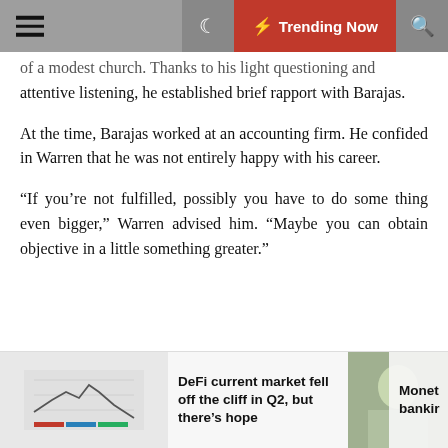☰  🌙  ⚡ Trending Now  🔍
of a modest church. Thanks to his light questioning and attentive listening, he established brief rapport with Barajas.
At the time, Barajas worked at an accounting firm. He confided in Warren that he was not entirely happy with his career.
“If you’re not fulfilled, possibly you have to do some thing even bigger,” Warren advised him. “Maybe you can obtain objective in a little something greater.”
DeFi current market fell off the cliff in Q2, but there’s hope
Monet bankir